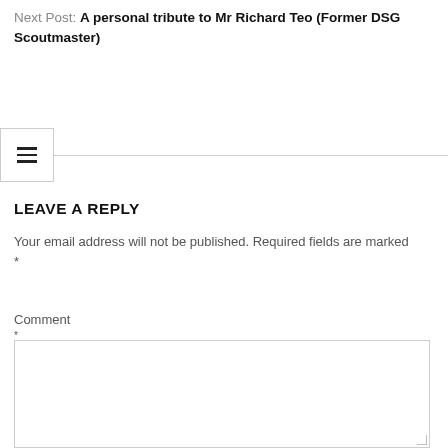Next Post: A personal tribute to Mr Richard Teo (Former DSG Scoutmaster)
[Figure (screenshot): Hamburger menu icon in a box with a horizontal divider line]
LEAVE A REPLY
Your email address will not be published. Required fields are marked *
Comment *
[Figure (infographic): Comment text area containing social share icons: Facebook, Twitter, Pinterest, Email, LinkedIn, WhatsApp, Link, Telegram, Flipboard, WeChat, Gmail, More]